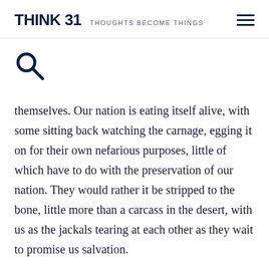THINK 31  THOUGHTS BECOME THINGS
[Figure (other): Search icon (magnifying glass)]
themselves. Our nation is eating itself alive, with some sitting back watching the carnage, egging it on for their own nefarious purposes, little of which have to do with the preservation of our nation. They would rather it be stripped to the bone, little more than a carcass in the desert, with us as the jackals tearing at each other as they wait to promise us salvation.
We've seen this before. History has seen it before in force. Stalin, Mussolini, and Hitler all rose from the ashes of